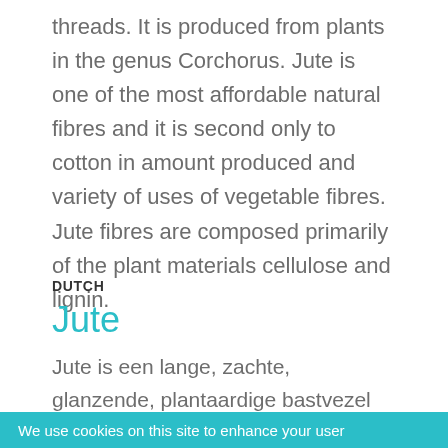threads. It is produced from plants in the genus Corchorus. Jute is one of the most affordable natural fibres and it is second only to cotton in amount produced and variety of uses of vegetable fibres. Jute fibres are composed primarily of the plant materials cellulose and lignin.
DUTCH
Jute
Jute is een lange, zachte, glanzende, plantaardige bastvezel die tot ruwe, sterke draden kan worden gesponnen. Het wordt verkregen uit planten uit het
We use cookies on this site to enhance your user